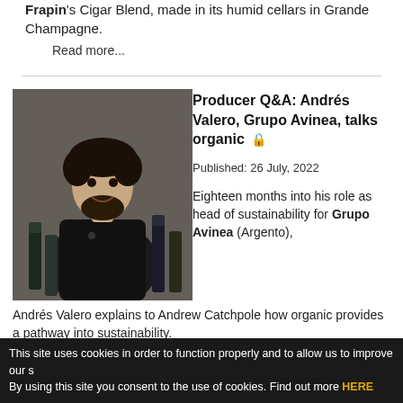Frapin's Cigar Blend, made in its humid cellars in Grande Champagne.
Read more...
[Figure (photo): Photo of Andrés Valero, a man with curly hair and beard wearing a black puffer vest, standing in front of wine bottles]
Producer Q&A: Andrés Valero, Grupo Avinea, talks organic 🔒
Published:  26 July, 2022
Eighteen months into his role as head of sustainability for Grupo Avinea (Argento), Andrés Valero explains to Andrew Catchpole how organic provides a pathway into sustainability.
Read more...
[Figure (photo): Landscape photo of green hills/vineyards]
Jerry Lockspeiser:
This site uses cookies in order to function properly and to allow us to improve our s By using this site you consent to the use of cookies. Find out more HERE